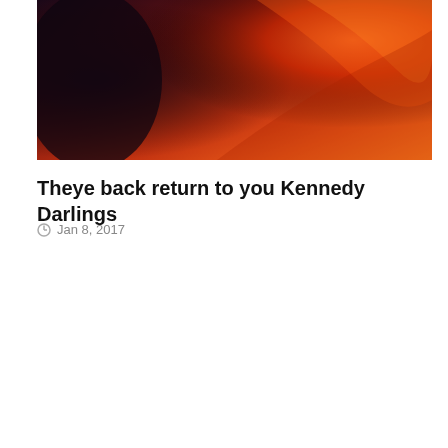[Figure (photo): Abstract red and orange flowing shapes, possibly canyon rock formations or fabric, with dark purple/black area on left side]
Theye back return to you Kennedy Darlings
Jan 8, 2017
[Figure (photo): Infolinks advertisement banner for Macy's: 'KISS BORING LIPS GOODBYE' with model with red lips in center, 'SHOP NOW' button and Macy's star logo on right. Red background.]